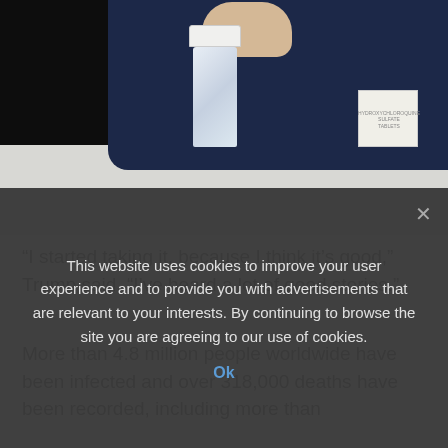[Figure (screenshot): Screenshot of a TV broadcast showing a person in a dark suit near a table, with a bottle (appears to be hydroxychloroquine) and a box visible on the table surface, dark background behind the figure.]
“I started taking it, because I think it’s good,” Trump said. “I’ve heard a lot of good stories.”
More than 4.8 million people worldwide have been infected and over 318,000 deaths have been recorded, including more than
This website uses cookies to improve your user experience and to provide you with advertisements that are relevant to your interests. By continuing to browse the site you are agreeing to our use of cookies.
Ok